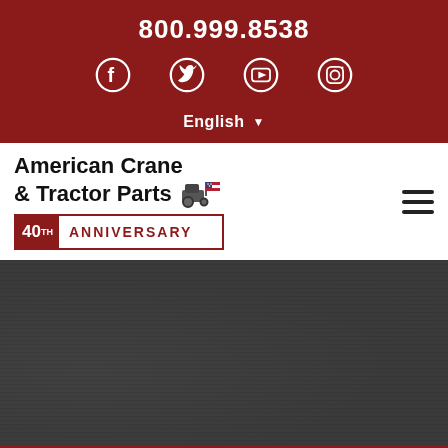800.999.8538
[Figure (screenshot): Social media icons: Facebook, Twitter, YouTube, Instagram on dark red background]
English ▼
American Crane & Tractor Parts 40TH ANNIVERSARY
[Figure (photo): Dark textured background hero image section]
LOADER ARM & BEARING/BUCKET